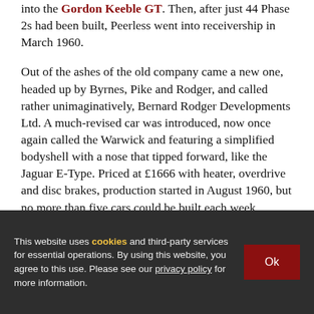into the Gordon Keeble GT. Then, after just 44 Phase 2s had been built, Peerless went into receivership in March 1960.
Out of the ashes of the old company came a new one, headed up by Byrnes, Pike and Rodger, and called rather unimaginatively, Bernard Rodger Developments Ltd. A much-revised car was introduced, now once again called the Warwick and featuring a simplified bodyshell with a nose that tipped forward, like the Jaguar E-Type. Priced at £1666 with heater, overdrive and disc brakes, production started in August 1960, but no more than five cars could be built each week because the investment capital wasn't there. By January 1961 Rodger had called a company holiday, production...
This website uses cookies and third-party services for essential operations. By using this website, you agree to this use. Please see our privacy policy for more information.